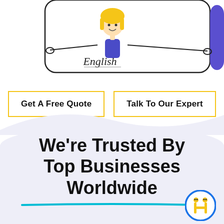[Figure (illustration): Cartoon illustration of a blonde woman in a blue top with arms outstretched, with the word 'English' written in script below her arms, inside a rounded rectangle frame. A purple shape is visible on the right edge.]
Get A Free Quote
Talk To Our Expert
We're Trusted By Top Businesses Worldwide
[Figure (logo): Circular logo with blue border and yellow figure design, resembling a person, on a white background.]